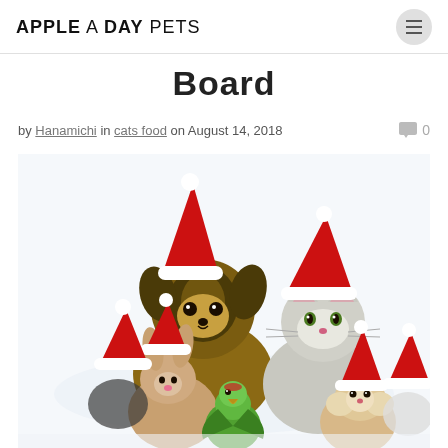APPLE A DAY PETS
Board
by Hanamichi in cats food on August 14, 2018  ○ 0
[Figure (photo): Group of cute animals wearing Santa hats — a Yorkshire Terrier puppy, a kitten, a rabbit, a green parrot, and a hamster, all posing together on a white background with festive red Santa hats.]